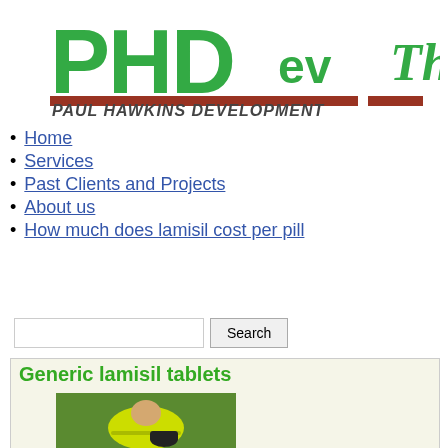[Figure (logo): PHDev - Paul Hawkins Development logo with green block letters PHD and smaller 'ev', brown horizontal rule, and italic text PAUL HAWKINS DEVELOPMENT. Partially cut off 'The S' text on right.]
Home
Services
Past Clients and Projects
About us
How much does lamisil cost per pill
Generic lamisil tablets
[Figure (photo): Worker in yellow/green high-visibility jacket crouching on green grass, handling a black cylindrical object (pipe or container).]